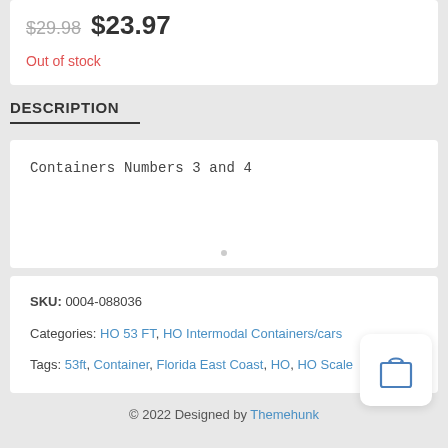$29.98  $23.97
Out of stock
DESCRIPTION
Containers Numbers 3 and 4
SKU: 0004-088036
Categories: HO 53 FT, HO Intermodal Containers/cars
Tags: 53ft, Container, Florida East Coast, HO, HO Scale
© 2022 Designed by Themehunk